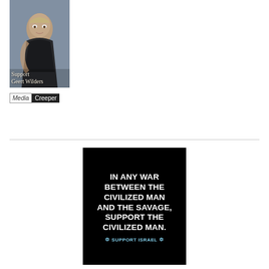[Figure (photo): Photo of Geert Wilders smiling, with overlay text 'Support Geert Wilders' in serif font on semi-transparent background]
[Figure (logo): Media Creeper logo — 'Media' in italic bordered box, 'Creeper' in white on black box]
[Figure (infographic): Black background image with bold white text: 'IN ANY WAR BETWEEN THE CIVILIZED MAN AND THE SAVAGE, SUPPORT THE CIVILIZED MAN.' with blue text 'SUPPORT ISRAEL' and Star of David symbols at bottom]